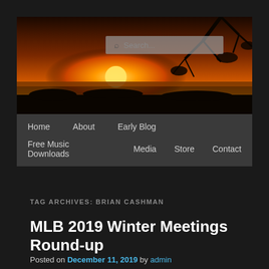[Figure (photo): Sunset over a lake with silhouetted grass and tree branches, warm orange and golden tones with a search bar overlay]
Home   About   Early Blog   Free Music Downloads   Media   Store   Contact
TAG ARCHIVES: BRIAN CASHMAN
MLB 2019 Winter Meetings Round-up
Posted on December 11, 2019 by admin